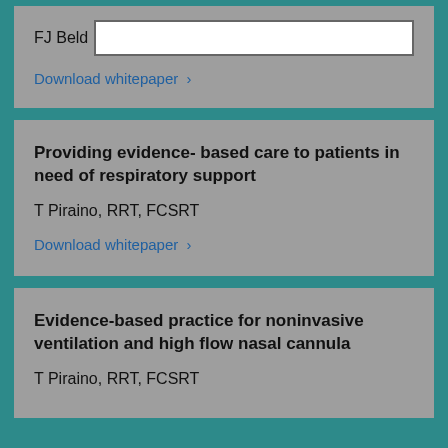FJ Beld
Download whitepaper ›
Providing evidence- based care to patients in need of respiratory support
T Piraino, RRT, FCSRT
Download whitepaper ›
Evidence-based practice for noninvasive ventilation and high flow nasal cannula
T Piraino, RRT, FCSRT